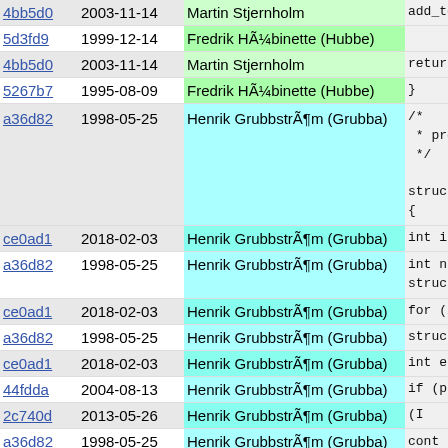| hash | date | author | code |
| --- | --- | --- | --- |
| 4bb5d0 | 2003-11-14 | Martin Stjernholm | add_to_c |
| 5d3fd9 | 1999-12-14 | Fredrik HÃ¼binette (Hubbe) |  |
| 4bb5d0 | 2003-11-14 | Martin Stjernholm | return e |
| 5267b7 | 1995-08-09 | Fredrik HÃ¼binette (Hubbe) | } |
| a36d82 | 1998-05-25 | Henrik GrubbstrÃ¶m (Grubba) | /*
 * program
 */

struct arr
{ |
| ce0ad1 | 2018-02-03 | Henrik GrubbstrÃ¶m (Grubba) | int i; |
| a36d82 | 1998-05-25 | Henrik GrubbstrÃ¶m (Grubba) | int n =
struct a |
| ce0ad1 | 2018-02-03 | Henrik GrubbstrÃ¶m (Grubba) | for (i = |
| a36d82 | 1998-05-25 | Henrik GrubbstrÃ¶m (Grubba) | struct |
| ce0ad1 | 2018-02-03 | Henrik GrubbstrÃ¶m (Grubba) | int e |
| 44fdda | 2004-08-13 | Henrik GrubbstrÃ¶m (Grubba) | if (p- |
| 2c740d | 2013-05-26 | Henrik GrubbstrÃ¶m (Grubba) | (I |
| a36d82 | 1998-05-25 | Henrik GrubbstrÃ¶m (Grubba) | cont
}
id = T |